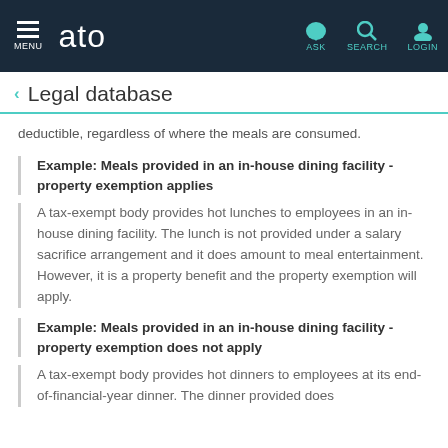ato | MENU | ASK | SEARCH | LOGIN
Legal database
deductible, regardless of where the meals are consumed.
Example: Meals provided in an in-house dining facility - property exemption applies
A tax-exempt body provides hot lunches to employees in an in-house dining facility. The lunch is not provided under a salary sacrifice arrangement and it does amount to meal entertainment. However, it is a property benefit and the property exemption will apply.
Example: Meals provided in an in-house dining facility - property exemption does not apply
A tax-exempt body provides hot dinners to employees at its end-of-financial-year dinner. The dinner provided does